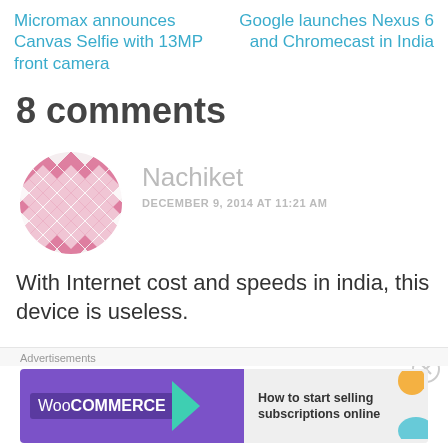Micromax announces Canvas Selfie with 13MP front camera
Google launches Nexus 6 and Chromecast in India
8 comments
Nachiket
DECEMBER 9, 2014 AT 11:21 AM
With Internet cost and speeds in india, this device is useless.
Advertisements
[Figure (other): WooCommerce advertisement banner: How to start selling subscriptions online]